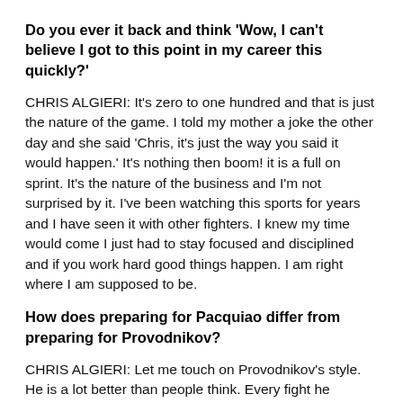Do you ever it back and think ‘Wow, I can’t believe I got to this point in my career this quickly?’
CHRIS ALGIERI: It’s zero to one hundred and that is just the nature of the game. I told my mother a joke the other day and she said ‘Chris, it’s just the way you said it would happen.’ It’s nothing then boom! it is a full on sprint. It’s the nature of the business and I’m not surprised by it. I’ve been watching this sports for years and I have seen it with other fighters. I knew my time would come I just had to stay focused and disciplined and if you work hard good things happen. I am right where I am supposed to be.
How does preparing for Pacquiao differ from preparing for Provodnikov?
CHRIS ALGIERI: Let me touch on Provodnikov’s style. He is a lot better than people think. Every fight he…